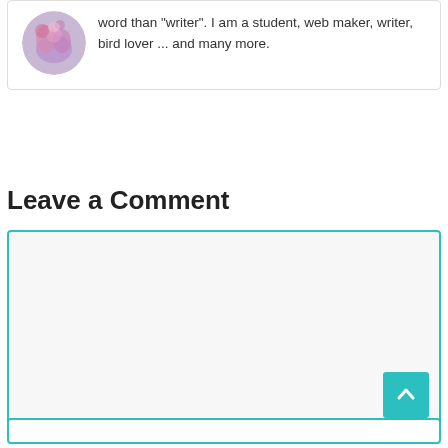word than "writer". I am a student, web maker, writer, bird lover ... and many more.
Leave a Comment
[Figure (other): Comment text area input box with teal border and a scroll-to-top teal button with upward arrow in the bottom right corner]